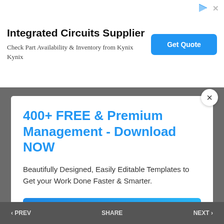Integrated Circuits Supplier
Check Part Availability & Inventory from Kynix Kynix
400+ FREE & Premium Management - Download NOW
Beautifully Designed, Easily Editable Templates to Get your Work Done Faster & Smarter.
View All Management Templates
< PREV   SHARE   NEXT >